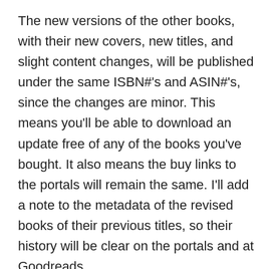The new versions of the other books, with their new covers, new titles, and slight content changes, will be published under the same ISBN#'s and ASIN#'s, since the changes are minor. This means you'll be able to download an update free of any of the books you've bought. It also means the buy links to the portals will remain the same. I'll add a note to the metadata of the revised books of their previous titles, so their history will be clear on the portals and at Goodreads.
But if you want any of these books in their current print editions, you should buy them now, as those editions will soon be going away.
Phew! That's my big news! To be the first to see the new covers, and to have a chance to download Tyler's new